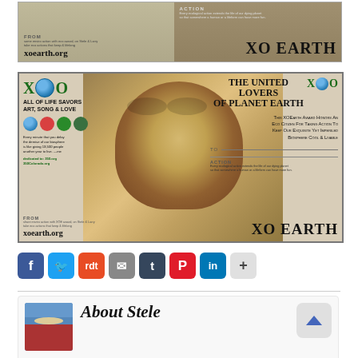[Figure (infographic): XO Earth banner ad showing animal photo, xoearth.org URL, and XO EARTH text with ACTION description]
[Figure (infographic): XO Earth main award banner with cougar/mountain lion photo, THE UNITED LOVERS OF PLANET EARTH heading, XO logos with globe icons, award description text, TO line, ACTION section, and XO EARTH branding. Includes icons for earth, heart, recycle, tree. Text: ALL OF LIFE SAVORS ART, SONG & LOVE. xoearth.org URL.]
[Figure (infographic): Row of social media sharing buttons: Facebook (blue f), Twitter (blue bird), Reddit (orange), Email (grey), Tumblr (dark), Pinterest (red P), LinkedIn (blue in), More/Share (grey +)]
About Stele
Earth Lovers, Write enviro songs, make art and media with me to inspire peens to join us in taking eco actions that help save our